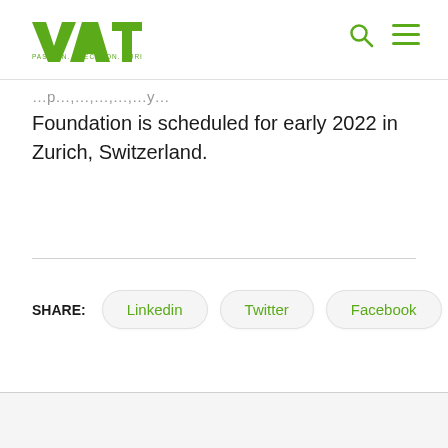VAT - PASSION. PRECISION. PURITY.
Foundation is scheduled for early 2022 in Zurich, Switzerland.
SHARE: Linkedin Twitter Facebook